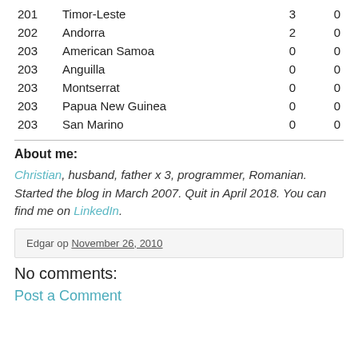| Rank | Country | Val1 | Val2 |
| --- | --- | --- | --- |
| 201 | Timor-Leste | 3 | 0 |
| 202 | Andorra | 2 | 0 |
| 203 | American Samoa | 0 | 0 |
| 203 | Anguilla | 0 | 0 |
| 203 | Montserrat | 0 | 0 |
| 203 | Papua New Guinea | 0 | 0 |
| 203 | San Marino | 0 | 0 |
About me:
Christian, husband, father x 3, programmer, Romanian. Started the blog in March 2007. Quit in April 2018. You can find me on LinkedIn.
Edgar op November 26, 2010
No comments:
Post a Comment